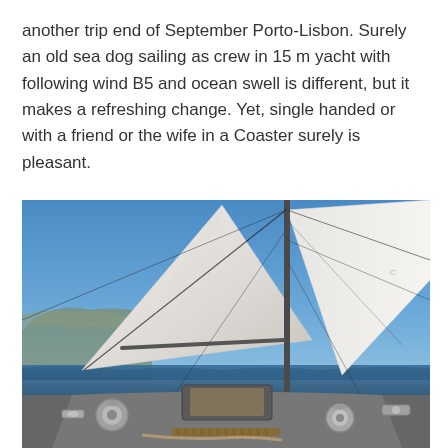another trip end of September Porto-Lisbon. Surely an old sea dog sailing as crew in 15 m yacht with following wind B5 and ocean swell is different, but it makes a refreshing change. Yet, single handed or with a friend or the wife in a Coaster surely is pleasant.
[Figure (photo): View from the cockpit of a sailing yacht at sea, looking forward along the deck toward two large white sails (mainsail and jib) billowing in the wind. The mast is visible with rigging lines. The sky is clear blue, and rocky coastline is faintly visible in the background to the left. Deck hardware including winches and cleats are visible in the foreground.]